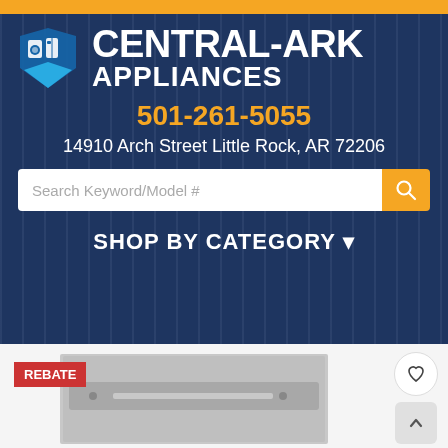[Figure (logo): Central-Ark Appliances logo with icon showing appliances and blue shield shape, and large white bold text reading CENTRAL-ARK APPLIANCES]
501-261-5055
14910 Arch Street Little Rock, AR 72206
Search Keyword/Model #
SHOP BY CATEGORY ▾
[Figure (photo): Partial product image of a stainless steel dishwasher with a REBATE badge in red at top left]